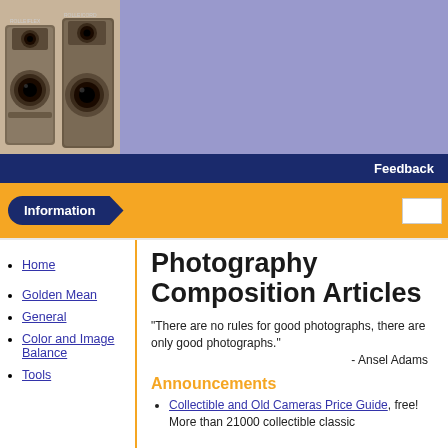[Figure (photo): Sepia-toned photo of two vintage cameras (Rolleiflex and Rolleicord twin-lens reflex cameras)]
Feedback
Information
Home
Golden Mean
General
Color and Image Balance
Tools
Photography Composition Articles
"There are no rules for good photographs, there are only good photographs."
- Ansel Adams
Announcements
Collectible and Old Cameras Price Guide, free! More than 21000 collectible classic